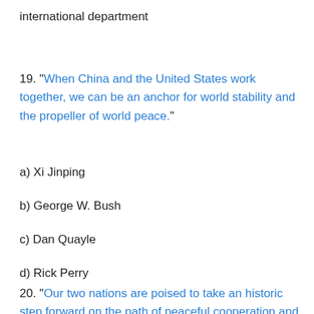international department
19. “When China and the United States work together, we can be an anchor for world stability and the propeller of world peace.”
a) Xi Jinping
b) George W. Bush
c) Dan Quayle
d) Rick Perry
20. “Our two nations are poised to take an historic step forward on the path of peaceful cooperation and economic